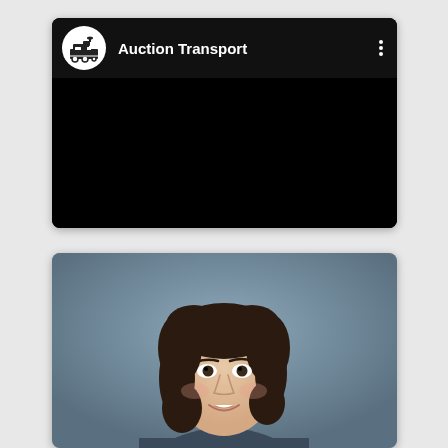[Figure (screenshot): Video card showing Auction Transport YouTube-style channel with black video area and channel logo/name header]
[Figure (photo): Professional headshot of a woman with dark curly hair, smiling, against a blue-gray gradient background]